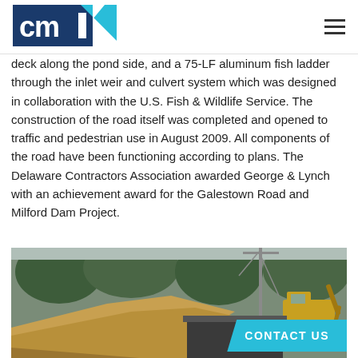CMI logo and navigation hamburger menu
deck along the pond side, and a 75-LF aluminum fish ladder through the inlet weir and culvert system which was designed in collaboration with the U.S. Fish & Wildlife Service. The construction of the road itself was completed and opened to traffic and pedestrian use in August 2009. All components of the road have been functioning according to plans. The Delaware Contractors Association awarded George & Lynch with an achievement award for the Galestown Road and Milford Dam Project.
[Figure (photo): Construction site photograph showing a large mound of excavated earth/sand in the foreground, with heavy construction equipment (crane/excavator) visible in the background among trees.]
CONTACT US